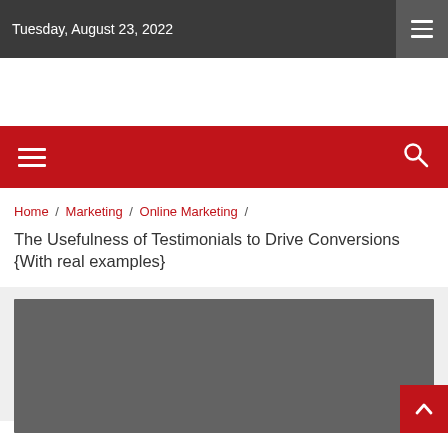Tuesday, August 23, 2022
[Figure (screenshot): White advertisement/banner space]
Home / Marketing / Online Marketing / The Usefulness of Testimonials to Drive Conversions {With real examples}
The Usefulness of Testimonials to Drive Conversions {With real examples}
[Figure (photo): Dark gray placeholder image for article hero photo]